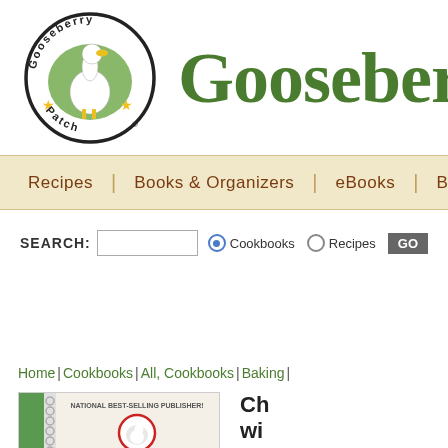[Figure (logo): Gooseberry Patch logo: circular badge with goose, stars, text 'Gooseberry Patch' around border]
Gooseberry
[Figure (screenshot): Navigation bar with links: Recipes | Books & Organizers | eBooks | Blog |]
[Figure (screenshot): Search bar with text input, Cookbooks radio (selected), Recipes radio, GO button]
Home | Cookbooks | All, Cookbooks | Baking |
[Figure (photo): Cookbook cover showing Gooseberry Patch logo, text NATIONAL BEST-SELLING PUBLISHER!]
Ch wi